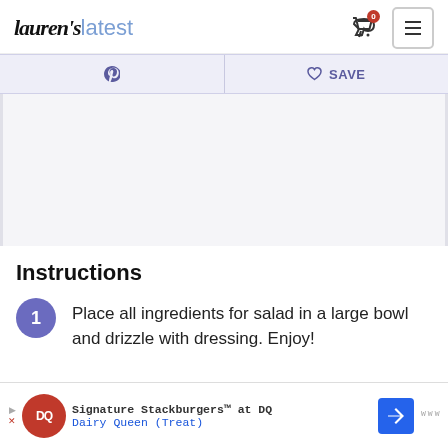Lauren's latest
[Figure (screenshot): Navigation bar with Pinterest icon and Save button on lavender background]
[Figure (other): Gray advertisement placeholder area]
Instructions
Place all ingredients for salad in a large bowl and drizzle with dressing. Enjoy!
[Figure (other): Dairy Queen advertisement banner: Signature Stackburgers at DQ, Dairy Queen (Treat)]